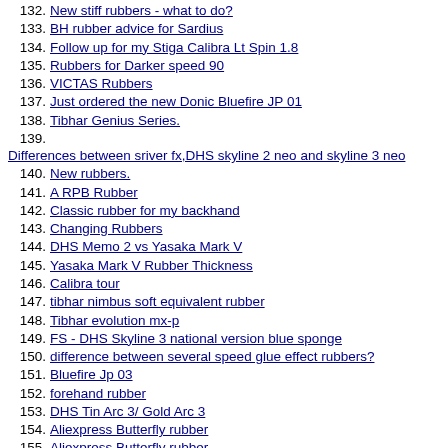132. New stiff rubbers - what to do?
133. BH rubber advice for Sardius
134. Follow up for my Stiga Calibra Lt Spin 1.8
135. Rubbers for Darker speed 90
136. VICTAS Rubbers
137. Just ordered the new Donic Bluefire JP 01
138. Tibhar Genius Series.
139. Differences between sriver fx,DHS skyline 2 neo and skyline 3 neo
140. New rubbers.
141. A RPB Rubber
142. Classic rubber for my backhand
143. Changing Rubbers
144. DHS Memo 2 vs Yasaka Mark V
145. Yasaka Mark V Rubber Thickness
146. Calibra tour
147. tibhar nimbus soft equivalent rubber
148. Tibhar evolution mx-p
149. FS - DHS Skyline 3 national version blue sponge
150. difference between several speed glue effect rubbers?
151. Bluefire Jp 03
152. forehand rubber
153. DHS Tin Arc 3/ Gold Arc 3
154. Aliexpress Butterfly rubber
155. Aliexpress Butterfly rubber
156. cheap reliable rubber's
157. How a Table Tennis rubber is made (VIDEO)
158. Forehand Low-Throw rubber
159. What to buy?
160. H3Neo vs Skyline!!!